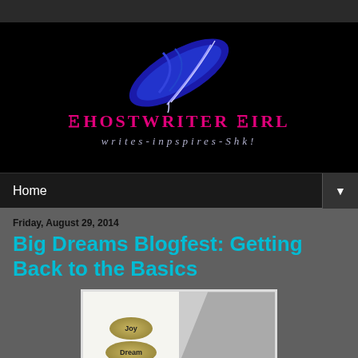[Figure (logo): Ghostwriter Girl blog logo with blue feather on black background, pink text 'GHOSTWRITER GIRL' and subtitle 'writes-inpspires-Shk!']
Home
Friday, August 29, 2014
Big Dreams Blogfest: Getting Back to the Basics
[Figure (photo): Image showing smooth stones labeled 'Joy' and 'Dream' with text 'Do You Have' and a dark geometric shape, suggesting a motivational blog post image]